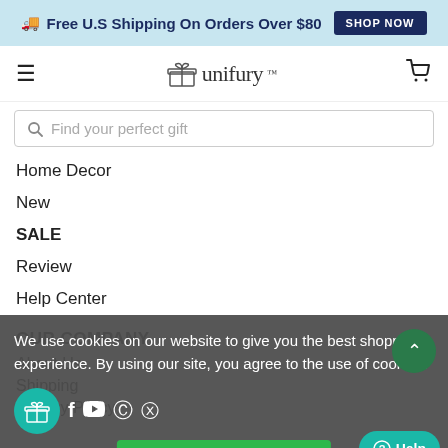🚚 Free U.S Shipping On Orders Over $80   SHOP NOW
[Figure (logo): Unifury logo with gift box icon and brand name]
Find your perfect gift
Home Decor
New
SALE
Review
Help Center
OUR COMPANY
About Us
Shipping
Privacy Policy
We use cookies on our website to give you the best shopping experience. By using our site, you agree to the use of cookies.
Yes, I accept cookies.